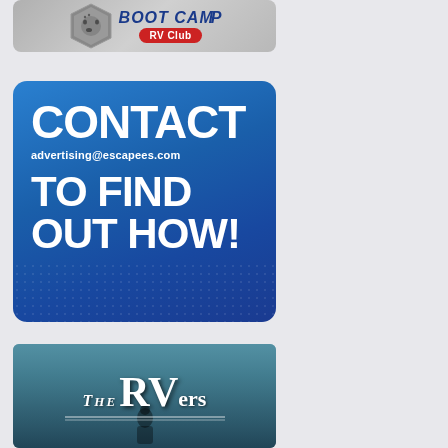[Figure (logo): Boot Camp RV Club logo — shield badge with dog paw prints and 'BOOT CAMP' text in blue, with 'RV Club' on a red oval badge, on a gray rounded rectangle background]
[Figure (advertisement): Blue rounded rectangle advertisement reading 'CONTACT advertising@escapees.com TO FIND OUT HOW!' in large white bold text on blue gradient background with dot pattern]
[Figure (illustration): The RVers book or show cover with large stylized text 'THE RVers' in white serif font on a teal/dark blue background, with a figure silhouette at the bottom]